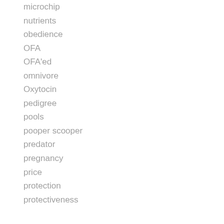microchip
nutrients
obedience
OFA
OFA'ed
omnivore
Oxytocin
pedigree
pools
pooper scooper
predator
pregnancy
price
protection
protectiveness